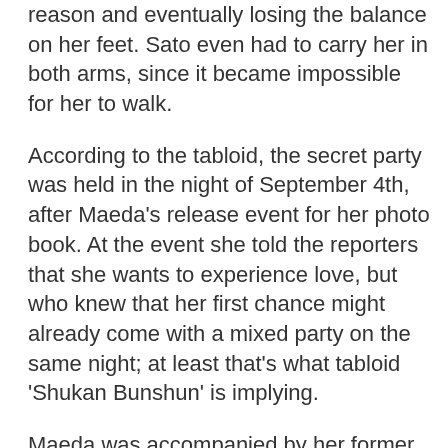reason and eventually losing the balance on her feet. Sato even had to carry her in both arms, since it became impossible for her to walk.
According to the tabloid, the secret party was held in the night of September 4th, after Maeda's release event for her photo book. At the event she told the reporters that she wants to experience love, but who knew that her first chance might already come with a mixed party on the same night; at least that's what tabloid 'Shukan Bunshun' is implying.
Maeda was accompanied by her former colleagues Oshima Yuko and Nakagawa Haruka. Together they met up with Sato and